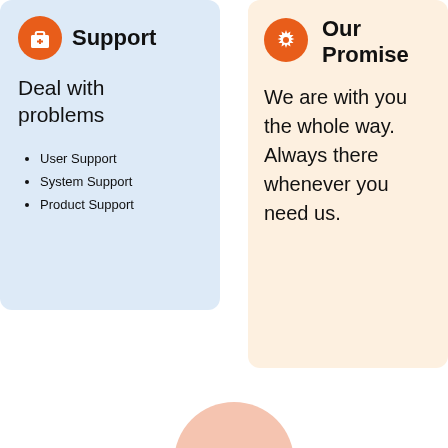Support
Deal with problems
User Support
System Support
Product Support
Our Promise
We are with you the whole way. Always there whenever you need us.